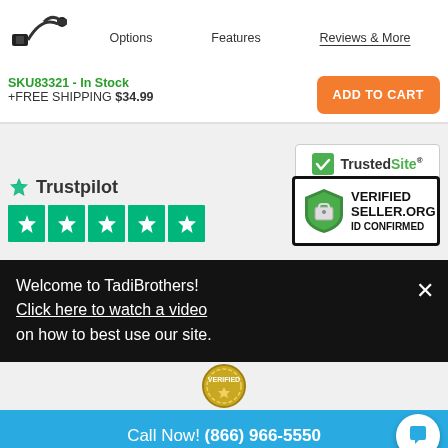[Figure (screenshot): Product image - black cable/adapter against white background]
Options   Features   Reviews & More
SKU83321 - In Stock
+FREE SHIPPING $34.99
[Figure (other): ADD TO CART button (orange)]
[Figure (other): TrustedSite CERTIFIED SECURE badge]
[Figure (other): Trustpilot 5-star rating badge with green stars]
[Figure (other): Verified Seller.org ID Confirmed badge with shield]
Welcome to TadiBrothers!
Click here to watch a video
on how to best use our site.
[Figure (other): VERIFIED stamp/seal (gold)]
Call Now! (866) 966-5550